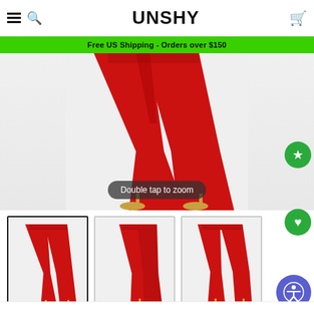UNSHY - Free US Shipping - Orders over $150
[Figure (photo): Main product image: close-up of red wide-leg trousers with gold strappy heels on white background, with 'Double tap to zoom' overlay tooltip]
[Figure (photo): Thumbnail 1 (active/selected): red flare/wide-leg pants, front view, full length on model]
[Figure (photo): Thumbnail 2: red flare pants, side/back view on model]
[Figure (photo): Thumbnail 3: red flare pants, front view on model, wider stance]